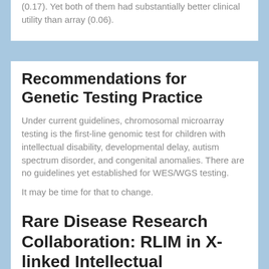(0.17). Yet both of them had substantially better clinical utility than array (0.06).
Recommendations for Genetic Testing Practice
Under current guidelines, chromosomal microarray testing is the first-line genomic test for children with intellectual disability, developmental delay, autism spectrum disorder, and congenital anomalies. There are no guidelines yet established for WES/WGS testing.
It may be time for that to change.
Filed Under: Clinical Sequencing, Rare Diseases
Rare Disease Research Collaboration: RLIM in X-linked Intellectual